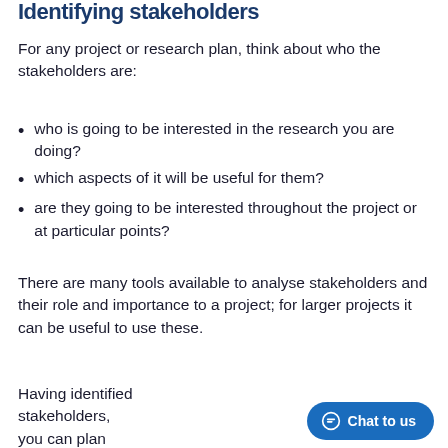Identifying stakeholders
For any project or research plan, think about who the stakeholders are:
who is going to be interested in the research you are doing?
which aspects of it will be useful for them?
are they going to be interested throughout the project or at particular points?
There are many tools available to analyse stakeholders and their role and importance to a project; for larger projects it can be useful to use these.
Having identified stakeholders, you can plan your publications to reach them: